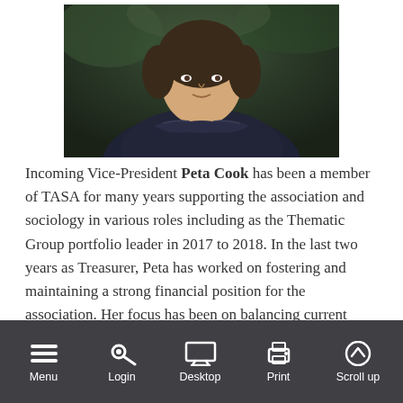[Figure (photo): Portrait photo of Peta Cook, showing upper body, wearing a dark navy/black top with ruffled collar, photographed against a blurred outdoor background.]
Incoming Vice-President Peta Cook has been a member of TASA for many years supporting the association and sociology in various roles including as the Thematic Group portfolio leader in 2017 to 2018. In the last two years as Treasurer, Peta has worked on fostering and maintaining a strong financial position for the association. Her focus has been on balancing current needs and important initiatives (for example, carer's bursaries, support for thematic groups, and Social Sciences Week) with our future needs particularly in the lead-up to the 2022 ISA Melbourne. Peta is proud to have been part of an executive team who have worked collaboratively to build a positive future for the membership. Through continuing on the TASA Executive in the role of Vice President, Peta aims to continue building on this collegiality and to work with the right and team to drive
[Figure (screenshot): Mobile browser toolbar at the bottom of the screen showing icons and labels: Menu (hamburger icon), Login (key icon), Desktop (monitor icon), Print (printer icon), Scroll up (up arrow icon).]